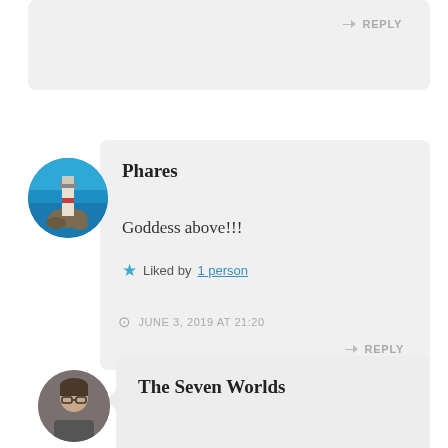REPLY
[Figure (photo): Circular avatar showing a lighthouse on rocky shore with blue sea and sky]
Phares
Goddess above!!!
Liked by 1 person
JUNE 3, 2019 AT 21:20
REPLY
[Figure (photo): Circular avatar showing a person with glasses]
The Seven Worlds